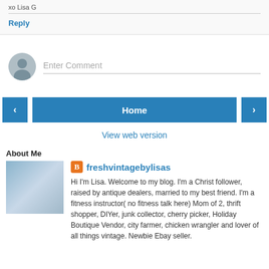xo Lisa G
Reply
Enter Comment
‹
Home
›
View web version
About Me
[Figure (photo): Photo of a person or scene outside a building]
freshvintagebylisas
Hi I'm Lisa. Welcome to my blog. I'm a Christ follower, raised by antique dealers, married to my best friend. I'm a fitness instructor( no fitness talk here) Mom of 2, thrift shopper, DIYer, junk collector, cherry picker, Holiday Boutique Vendor, city farmer, chicken wrangler and lover of all things vintage. Newbie Ebay seller.